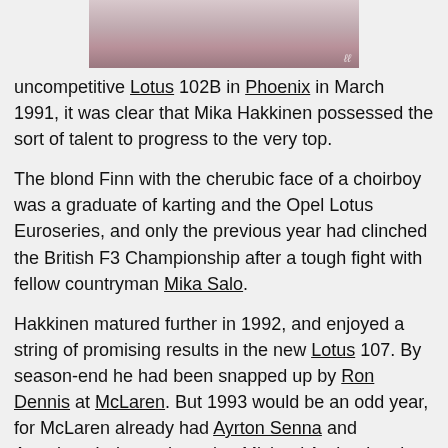[Figure (photo): Partial photo of a person, cropped at the top of the page, showing lower face/neck area in muted pink/grey tones with a small watermark signature in the bottom right corner.]
uncompetitive Lotus 102B in Phoenix in March 1991, it was clear that Mika Hakkinen possessed the sort of talent to progress to the very top.
The blond Finn with the cherubic face of a choirboy was a graduate of karting and the Opel Lotus Euroseries, and only the previous year had clinched the British F3 Championship after a tough fight with fellow countryman Mika Salo.
Hakkinen matured further in 1992, and enjoyed a string of promising results in the new Lotus 107. By season-end he had been snapped up by Ron Dennis at McLaren. But 1993 would be an odd year, for McLaren already had Ayrton Senna and American Indycar champion Michael Andretti on its books, and therefore there was no room for the Finn actually to race. Instead he had to content himself with testing duties until Andretti, who was finding F1 a tough nut to crack, finally returned to the United States after the Italian GP in September.
Free at last, Hakkinen celebrated by giving Senna a